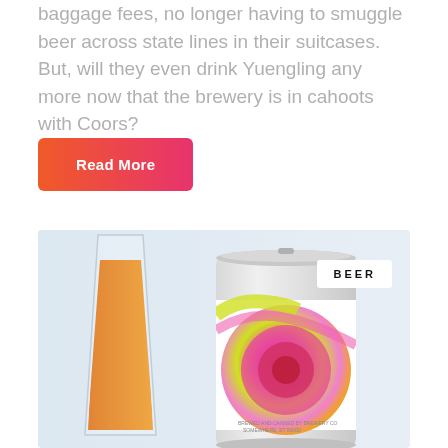baggage fees, no longer having to smuggle beer across state lines in their suitcases. But, will they even drink Yuengling any more now that the brewery is in cahoots with Coors?
Read More
[Figure (photo): Photo of a beer glass filled with amber/orange beer next to a beer can with a colorful swirling pink, yellow, and purple label design. A white tag in the upper right reads BEER.]